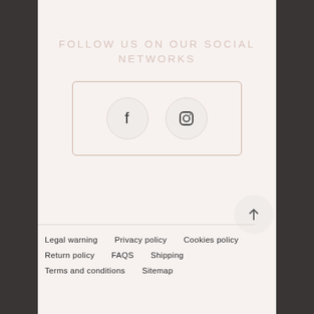FOLLOW US ON OUR SOCIAL NETWORKS
[Figure (illustration): A bordered rectangle containing two circular social media icons: Facebook (f) and Instagram (camera icon)]
[Figure (illustration): Back to top button: a circle with an upward arrow]
Legal warning   Privacy policy   Cookies policy
Return policy   FAQS   Shipping
Terms and conditions   Sitemap